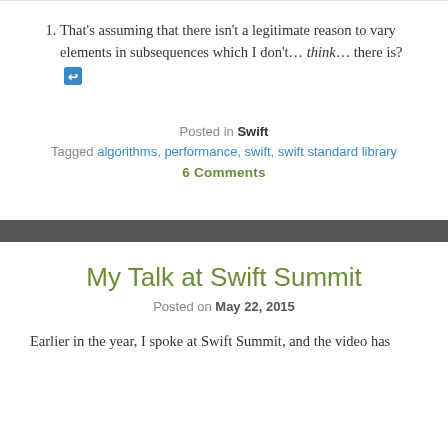That's assuming that there isn't a legitimate reason to vary elements in subsequences which I don't... think... there is? [link icon]
Posted in Swift
Tagged algorithms, performance, swift, swift standard library
6 Comments
My Talk at Swift Summit
Posted on May 22, 2015
Earlier in the year, I spoke at Swift Summit, and the video has